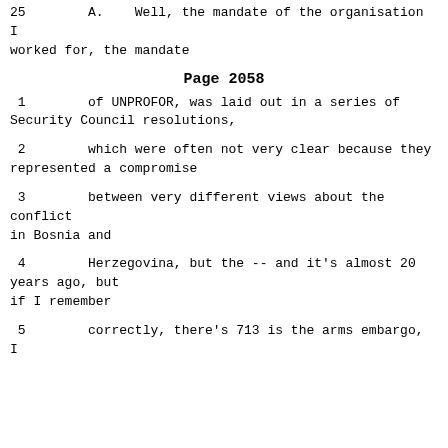25        A.    Well, the mandate of the organisation I worked for, the mandate
Page 2058
1        of UNPROFOR, was laid out in a series of Security Council resolutions,
2        which were often not very clear because they represented a compromise
3        between very different views about the conflict in Bosnia and
4        Herzegovina, but the -- and it's almost 20 years ago, but if I remember
5        correctly, there's 713 is the arms embargo, I